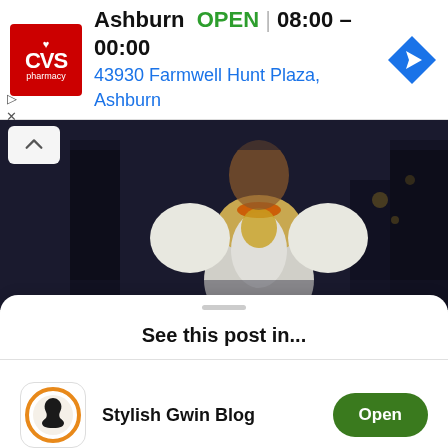[Figure (screenshot): CVS Pharmacy ad banner showing Ashburn location, OPEN status, hours 08:00-00:00, address 43930 Farmwell Hunt Plaza, Ashburn, with navigation icon]
[Figure (photo): Photo of a person wearing traditional African attire with white puffed sleeves, gold jewelry and orange beaded necklace, dark background, partially collapsed view with a collapse/chevron up button]
See this post in...
[Figure (logo): Stylish Gwin Blog app icon: circular orange border with black silhouette of a woman's profile]
Stylish Gwin Blog
Open
[Figure (logo): Safari browser icon: compass with red and white needle on blue background]
Safari
Continue